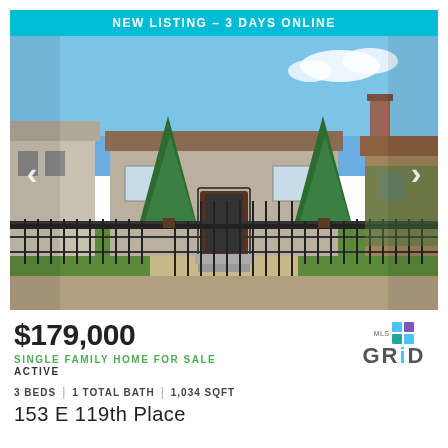[Figure (photo): Exterior photo of a single-family brick bungalow with iron fence, evergreen trees, and front yard, with a teal banner reading NEW LISTING – 3 DAYS ONLINE]
$179,000
SINGLE FAMILY HOME FOR SALE
ACTIVE
3 BEDS | 1 TOTAL BATH | 1,034 SQFT
153 E 119th Place
[Figure (logo): MLS GRID logo with colorful grid icon]